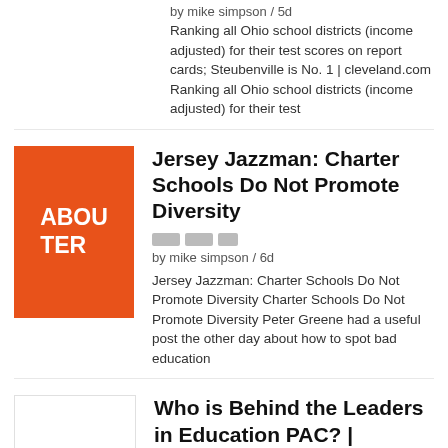by mike simpson / 5d
Ranking all Ohio school districts (income adjusted) for their test scores on report cards; Steubenville is No. 1 | cleveland.com Ranking all Ohio school districts (income adjusted) for their test
Jersey Jazzman: Charter Schools Do Not Promote Diversity
by mike simpson / 6d
Jersey Jazzman: Charter Schools Do Not Promote Diversity Charter Schools Do Not Promote Diversity Peter Greene had a useful post the other day about how to spot bad education
Who is Behind the Leaders in Education PAC? | deutsch29
by mike simpson / 6d
Who is Behind the Leaders in Education PAC? | deutsch29 Who is Behind the Leaders in Education PAC? In preparing for my presentation on “dark money” in purchasing elections for promoting